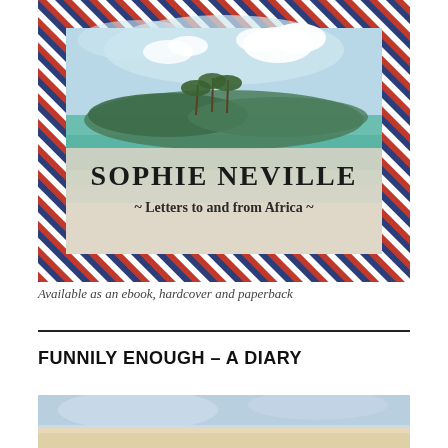[Figure (illustration): Book cover for Sophie Neville - Letters to and from Africa. Watercolor painting of an African coastal/lakeside landscape with palm trees, lush green vegetation, turquoise water and sky with clouds. The cover is framed with a border of diagonal red, white and blue airmail stripes. Title text reads SOPHIE NEVILLE in large serif font, subtitle reads ~ Letters to and from Africa ~]
Available as an ebook, hardcover and paperback
FUNNILY ENOUGH – A DIARY
[Figure (illustration): Bottom portion of another book cover showing a soft watercolor landscape with blue sky and sandy/peachy tones, partially cut off at bottom of page.]